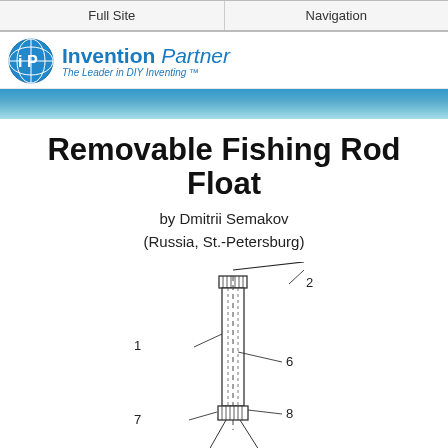Full Site | Navigation
[Figure (logo): Invention Partner logo — circular IP icon with blue globe, bold 'Invention Partner' text, tagline 'The Leader in DIY Inventing TM']
Removable Fishing Rod Float
by Dmitrii Semakov
(Russia, St.-Petersburg)
[Figure (engineering-diagram): Technical line drawing of a fishing rod float assembly showing a vertical cylindrical float body with labeled parts: 1 (float body/tube), 2 (fishing line/rod going through top), 6 (internal channel), 7 (lower attachment), 8 (lower clamp/connector). The float has hatched clamp rings at top and bottom with a dashed centerline.]